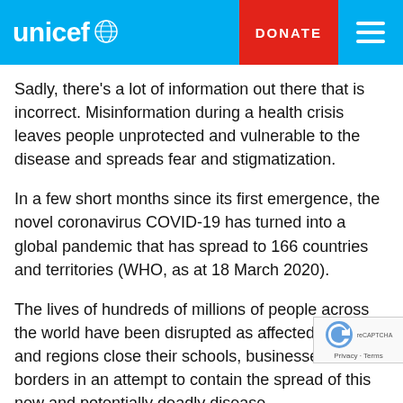unicef DONATE
Sadly, there's a lot of information out there that is incorrect. Misinformation during a health crisis leaves people unprotected and vulnerable to the disease and spreads fear and stigmatization.
In a few short months since its first emergence, the novel coronavirus COVID-19 has turned into a global pandemic that has spread to 166 countries and territories (WHO, as at 18 March 2020).
The lives of hundreds of millions of people across the world have been disrupted as affected countries and regions close their schools, businesses and borders in an attempt to contain the spread of this new and potentially deadly disease.
Signs are that the virus will continue to spread further